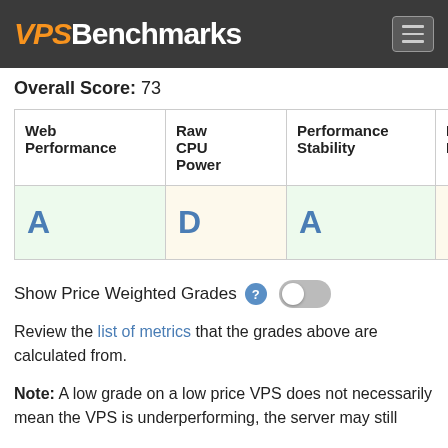VPSBenchmarks
Overall Score: 73
| Web Performance | Raw CPU Power | Performance Stability | Disk IO Performance |
| --- | --- | --- | --- |
| A | D | A | D |
Show Price Weighted Grades
Review the list of metrics that the grades above are calculated from.
Note: A low grade on a low price VPS does not necessarily mean the VPS is underperforming, the server may still